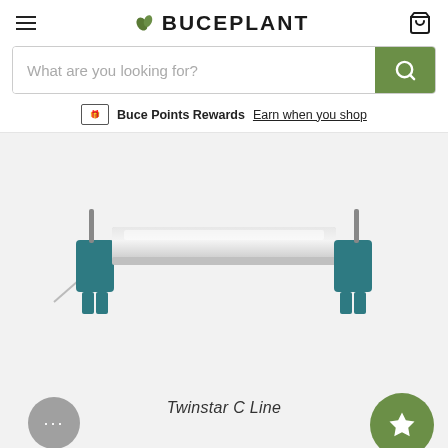BUCEPLANT
What are you looking for?
Buce Points Rewards Earn when you shop
[Figure (photo): Twinstar C Line aquarium LED light fixture mounted on tank clips, viewed from the front. Silver/white elongated rectangular lamp body with teal/dark blue mounting brackets on each end. A thin power cable extends from the left bracket.]
Twinstar C Line